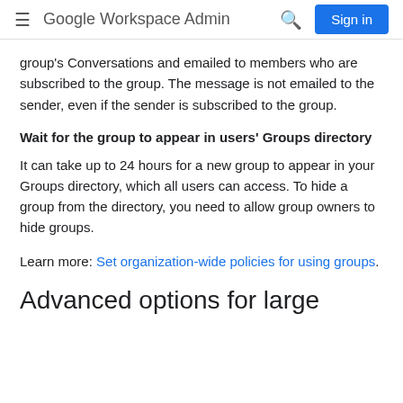Google Workspace Admin  Sign in
group's Conversations and emailed to members who are subscribed to the group. The message is not emailed to the sender, even if the sender is subscribed to the group.
Wait for the group to appear in users' Groups directory
It can take up to 24 hours for a new group to appear in your Groups directory, which all users can access. To hide a group from the directory, you need to allow group owners to hide groups.
Learn more: Set organization-wide policies for using groups.
Advanced options for large